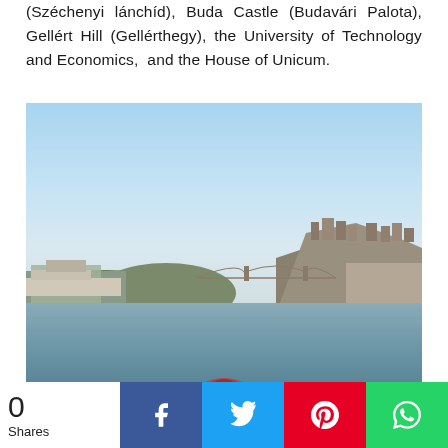(Széchenyi lánchíd), Buda Castle (Budavári Palota), Gellért Hill (Gellérthegy), the University of Technology and Economics, and the House of Unicum.
[Figure (photo): View from a kayak on the Danube River in Budapest, showing Buda Castle and the Chain Bridge in the background under a clear blue sky. The foreground shows the front of the kayak with a red dry bag and green kayak hull on the calm blue-grey water.]
0 Shares